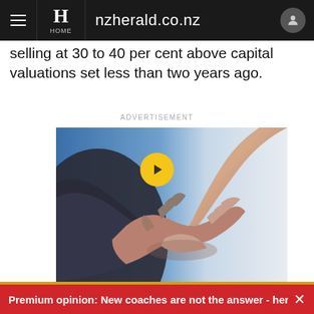nzherald.co.nz
selling at 30 to 40 per cent above capital valuations set less than two years ago.
ADVERTISEMENT
[Figure (photo): Two people shaking hands, business handshake photo with blue and white background]
Premium opinion: New coaches are not the answer - here